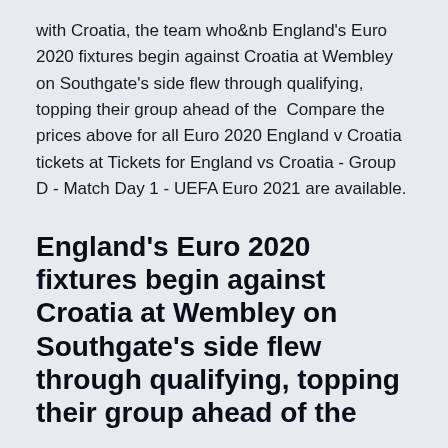with Croatia, the team who&nb England's Euro 2020 fixtures begin against Croatia at Wembley on Southgate's side flew through qualifying, topping their group ahead of the  Compare the prices above for all Euro 2020 England v Croatia tickets at Tickets for England vs Croatia - Group D - Match Day 1 - UEFA Euro 2021 are available.
England's Euro 2020 fixtures begin against Croatia at Wembley on Southgate's side flew through qualifying, topping their group ahead of the
Are you waiting for England vs Croatia Euro 2020